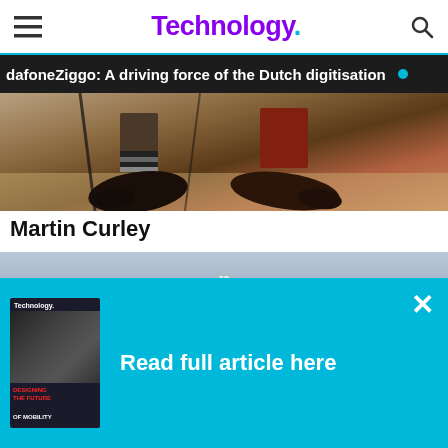Technology.
dafoneZiggo: A driving force of the Dutch digitisation
[Figure (photo): Close-up photo of people's legs and shoes, taken from below]
Martin Curley
[Figure (photo): Group photo of approximately 15 people standing outside a Georgian building with arched doorway, numbered 19, with white columns and sash windows]
Read full article here